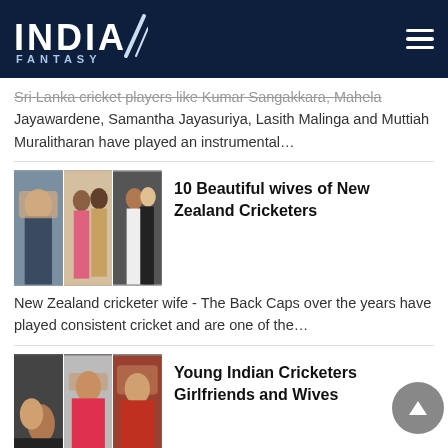India Fantasy
Sri Lanka cricket players like Kumar Sangakkara, Mahela Jayawardene, Samantha Jayasuriya, Lasith Malinga and Muttiah Muralitharan have played an instrumental…
[Figure (photo): Collage of three photos of New Zealand cricketers' wives/partners]
10 Beautiful wives of New Zealand Cricketers
New Zealand cricketer wife - The Back Caps over the years have played consistent cricket and are one of the…
[Figure (photo): Collage of photos of young Indian cricketers' girlfriends and wives]
Young Indian Cricketers Girlfriends and Wives